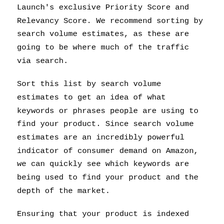Launch's exclusive Priority Score and Relevancy Score. We recommend sorting by search volume estimates, as these are going to be where much of the traffic via search.
Sort this list by search volume estimates to get an idea of what keywords or phrases people are using to find your product. Since search volume estimates are an incredibly powerful indicator of consumer demand on Amazon, we can quickly see which keywords are being used to find your product and the depth of the market.
Ensuring that your product is indexed for the majority or all of your keywords are the first step in making sure your listing shows up for customers. Without indexing for the relevant keywords...